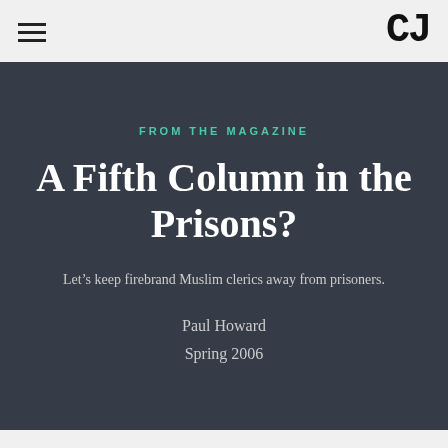CJ
FROM THE MAGAZINE
A Fifth Column in the Prisons?
Let’s keep firebrand Muslim clerics away from prisoners.
Paul Howard
Spring 2006